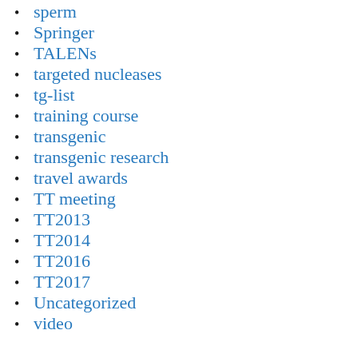sperm
Springer
TALENs
targeted nucleases
tg-list
training course
transgenic
transgenic research
travel awards
TT meeting
TT2013
TT2014
TT2016
TT2017
Uncategorized
video